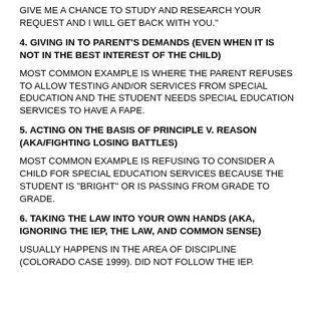GIVE ME A CHANCE TO STUDY AND RESEARCH YOUR REQUEST AND I WILL GET BACK WITH YOU."
4. GIVING IN TO PARENT'S DEMANDS (EVEN WHEN IT IS NOT IN THE BEST INTEREST OF THE CHILD)
MOST COMMON EXAMPLE IS WHERE THE PARENT REFUSES TO ALLOW TESTING AND/OR SERVICES FROM SPECIAL EDUCATION AND THE STUDENT NEEDS SPECIAL EDUCATION SERVICES TO HAVE A FAPE.
5. ACTING ON THE BASIS OF PRINCIPLE V. REASON (AKA/FIGHTING LOSING BATTLES)
MOST COMMON EXAMPLE IS REFUSING TO CONSIDER A CHILD FOR SPECIAL EDUCATION SERVICES BECAUSE THE STUDENT IS "BRIGHT" OR IS PASSING FROM GRADE TO GRADE.
6. TAKING THE LAW INTO YOUR OWN HANDS (AKA, IGNORING THE IEP, THE LAW, AND COMMON SENSE)
USUALLY HAPPENS IN THE AREA OF DISCIPLINE (COLORADO CASE 1999). DID NOT FOLLOW THE IEP.